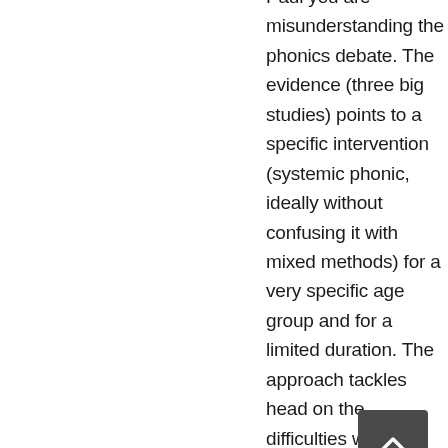Paul you are misunderstanding the phonics debate. The evidence (three big studies) points to a specific intervention (systemic phonic, ideally without confusing it with mixed methods) for a very specific age group and for a limited duration. The approach tackles head on the difficulties with